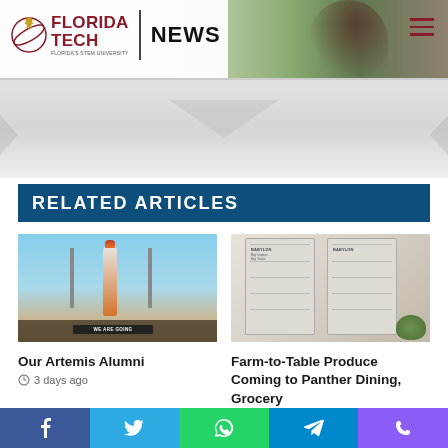[Figure (screenshot): Florida Tech News website header with logo, NEWS text, and background photo of statue and greenery]
[Figure (photo): Gray hero/banner area below header with chevron shape]
RELATED ARTICLES
[Figure (photo): Our Artemis Alumni - group of people standing in front of rocket launch tower with 'WE ARE GOING' sign]
Our Artemis Alumni
3 days ago
[Figure (photo): Farm-to-Table Produce - Babylon micro-farm vending units in a dining facility]
Farm-to-Table Produce Coming to Panther Dining, Grocery
4 days ago
Social share bar: Facebook, Twitter, WhatsApp, Telegram, Phone